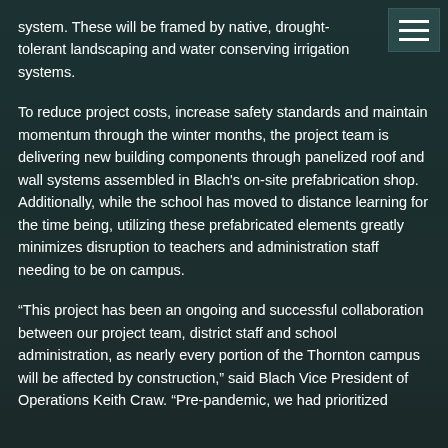system. These will be framed by native, drought-tolerant landscaping and water conserving irrigation systems.
To reduce project costs, increase safety standards and maintain momentum through the winter months, the project team is delivering new building components through panelized roof and wall systems assembled in Blach's on-site prefabrication shop. Additionally, while the school has moved to distance learning for the time being, utilizing these prefabricated elements greatly minimizes disruption to teachers and administration staff needing to be on campus.
“This project has been an ongoing and successful collaboration between our project team, district staff and school administration, as nearly every portion of the Thornton campus will be affected by construction,” said Blach Vice President of Operations Keith Craw. “Pre-pandemic, we had prioritized